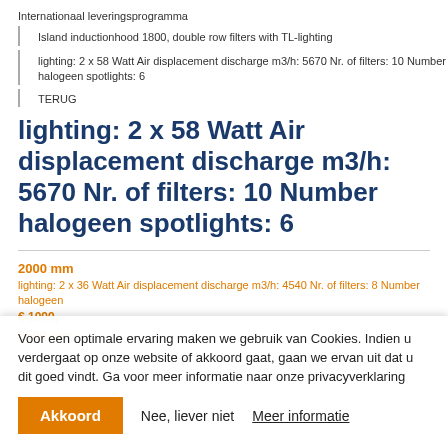Internationaal leveringsprogramma
Island inductionhood 1800, double row filters with TL-lighting
lighting: 2 x 58 Watt Air displacement discharge m3/h: 5670 Nr. of filters: 10 Number halogeen spotlights: 6
TERUG
lighting: 2 x 58 Watt Air displacement discharge m3/h: 5670 Nr. of filters: 10 Number halogeen spotlights: 6
2000 mm
lighting: 2 x 36 Watt Air displacement discharge m3/h: 4540 Nr. of filters: 8 Number halogeen
€ 1099,-
2500 mm
Voor een optimale ervaring maken we gebruik van Cookies. Indien u verdergaat op onze website of akkoord gaat, gaan we ervan uit dat u dit goed vindt. Ga voor meer informatie naar onze privacyverklaring